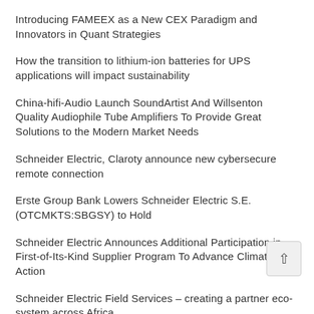Introducing FAMEEX as a New CEX Paradigm and Innovators in Quant Strategies
How the transition to lithium-ion batteries for UPS applications will impact sustainability
China-hifi-Audio Launch SoundArtist And Willsenton Quality Audiophile Tube Amplifiers To Provide Great Solutions to the Modern Market Needs
Schneider Electric, Claroty announce new cybersecure remote connection
Erste Group Bank Lowers Schneider Electric S.E. (OTCMKTS:SBGSY) to Hold
Schneider Electric Announces Additional Participation in First-of-Its-Kind Supplier Program To Advance Climate Action
Schneider Electric Field Services – creating a partner eco-system across Africa
Schneider Electric to set up second manufacturing unit in Telangana